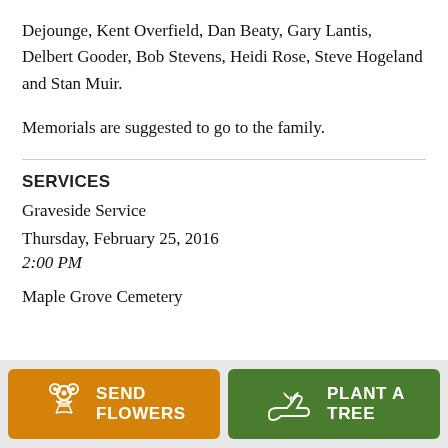Dejounge, Kent Overfield, Dan Beaty, Gary Lantis, Delbert Gooder, Bob Stevens, Heidi Rose, Steve Hogeland and Stan Muir.
Memorials are suggested to go to the family.
SERVICES
Graveside Service
Thursday, February 25, 2016
2:00 PM
Maple Grove Cemetery